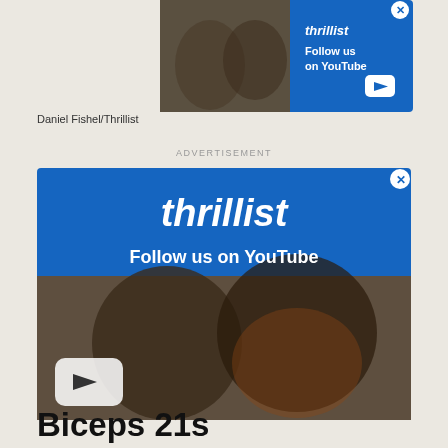[Figure (screenshot): Thrillist advertisement banner: Follow us on YouTube, with photo of two men eating pizza]
Daniel Fishel/Thrillist
ADVERTISEMENT
[Figure (screenshot): Large Thrillist advertisement: thrillist logo, Follow us on YouTube, two men eating pizza with YouTube play button]
Biceps 21s